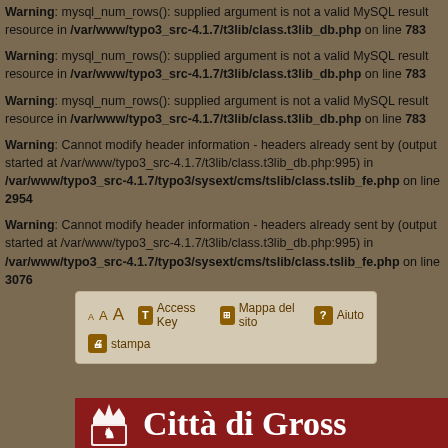Warning: mysql_num_rows(): supplied argument is not a valid MySQL result resource in /var/www/typo3_src-4.1.7/t3lib/class.t3lib_db.php on line 783
Warning: mysql_num_rows(): supplied argument is not a valid MySQL result resource in /var/www/typo3_src-4.1.7/t3lib/class.t3lib_db.php on line 783
Warning: mysql_num_rows(): supplied argument is not a valid MySQL result resource in /var/www/typo3_src-4.1.7/t3lib/class.t3lib_db.php on line 783
Warning: Cannot modify header information - headers already sent by (output started at /var/www/typo3_src-4.1.7/t3lib/class.t3lib_db.php:995) in /var/www/typo3_src-4.1.7/typo3/sysext/cms/tslib/class.tslib_fe.php on line 2954
Warning: Cannot modify header information - headers already sent by (output started at /var/www/typo3_src-4.1.7/t3lib/class.t3lib_db.php:995) in /var/www/typo3_src-4.1.7/typo3/sysext/cms/tslib/class.tslib_fe.php on line 3076
[Figure (screenshot): Website toolbar showing font size selectors (A A A), Access Key button, Mappa del sito button, Aiuto button, and stampa (print) button, on a beige background]
[Figure (screenshot): Website header showing the Citta di Grosseto logo with crown and lion crest on a dark red background, with partial text 'Citta di Gross']